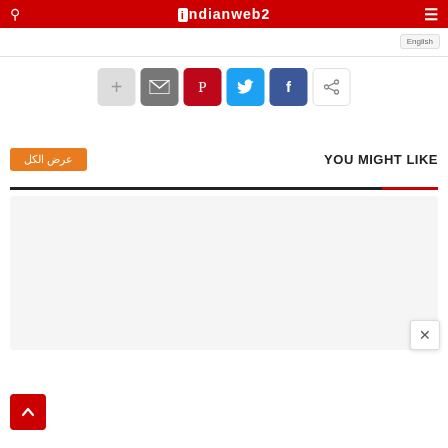indianweb2
[Figure (screenshot): Social sharing buttons row: plus, email, pinterest, twitter, facebook, share icons]
YOU MIGHT LIKE
عرض الكل
[Figure (other): Content placeholder gray box with close (X) button overlay]
[Figure (other): Back to top red button with upward arrow]